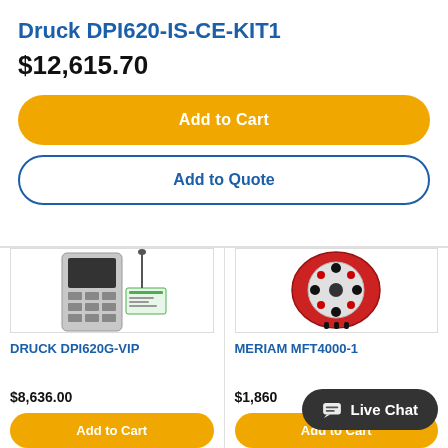Druck DPI620-IS-CE-KIT1
$12,615.70
Add to Cart
Add to Quote
[Figure (photo): Photo of Druck DPI620G-VIP calibration device with keypad and calibration tag]
DRUCK DPI620G-VIP
$8,636.00
Add to Cart
[Figure (photo): Photo of Meriam MFT4000-1 red oval multifunction calibrator with circular button panel]
MERIAM MFT4000-1
$1,860
Add to Cart
Live Chat